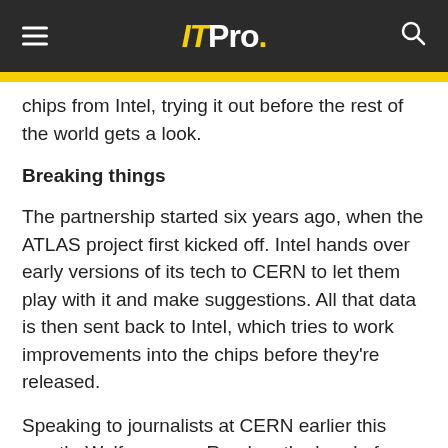ITPro.
chips from Intel, trying it out before the rest of the world gets a look.
Breaking things
The partnership started six years ago, when the ATLAS project first kicked off. Intel hands over early versions of its tech to CERN to let them play with it and make suggestions. All that data is then sent back to Intel, which tries to work improvements into the chips before they're released.
Speaking to journalists at CERN earlier this month, Wolfgang von Rueden, the head of openlab, explained